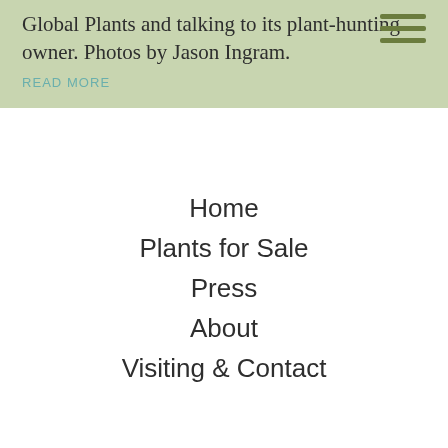Global Plants and talking to its plant-hunting owner. Photos by Jason Ingram.
READ MORE
Home
Plants for Sale
Press
About
Visiting & Contact